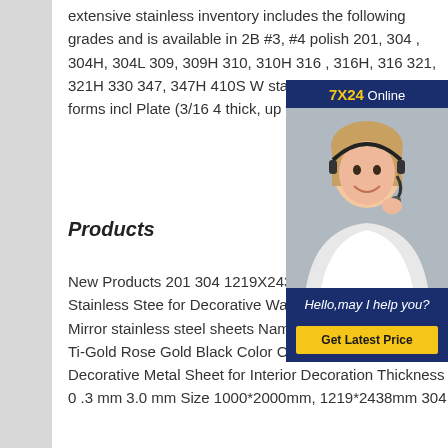extensive stainless inventory includes the following grades and is available in 2B #3, #4 polish 201, 304 , 304H, 304L 309, 309H 310, 310H 316 , 316H, 316 321, 321H 330 347, 347H 410S W stainless in a variety of forms incl Plate (3/16 4 thick, up to
Products
New Products 201 304 1219X243 Gold Mirror 6K 8K Stainless Stee for Decorative Wall Panels and E Type Mirror stainless steel sheets Name 8K Mirror Finish PVD Ti-Gold Rose Gold Black Color Coating Stainless Steel Decorative Metal Sheet for Interior Decoration Thickness 0 .3 mm 3.0 mm Size 1000*2000mm, 1219*2438mm 304
[Figure (photo): Customer service chat widget showing a woman with a headset smiling, with '7X24 Online' header, 'Hello,may I help you?' message, and 'Get Latest Price' yellow button on dark navy background.]